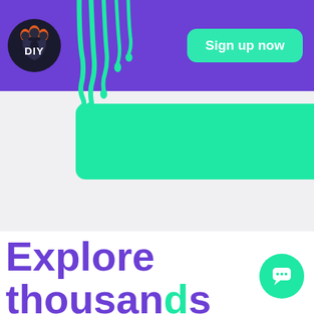[Figure (logo): DIY logo — black paw/fire icon with 'DIY' text in white inside a dark circular badge]
[Figure (illustration): Green slime drip decoration on purple header bar]
Sign up now
[Figure (illustration): Teal/green rounded rectangle card partially visible, overlapping gray section]
Explore thousands of live
[Figure (illustration): Teal circular chat/support bubble icon button in bottom right corner]